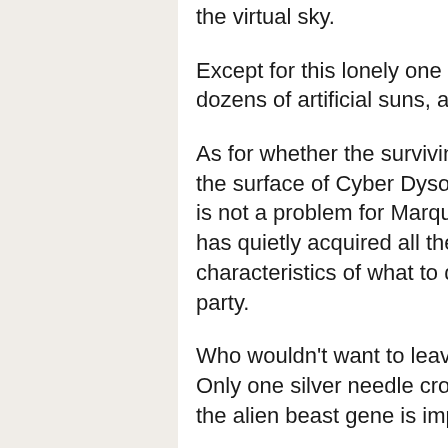the virtual sky.
Except for this lonely one There are zero and zero giant planets and dozens of artificial suns, and there is only an endless void left.
As for whether the surviving exile civilization will continue the war on the surface of Cyber Dyson in order to compete for living space, that is not a problem for Marquis Geddes to consider Camellia Schildgen has quietly acquired all the technology and civilization characteristics of what to do if sugar is high in the blood the other party.
Who wouldn't want to leave a good bloodline for future generations? Only one silver needle crossing blood is carried out, and only 1% of the alien beast gene is implanted.